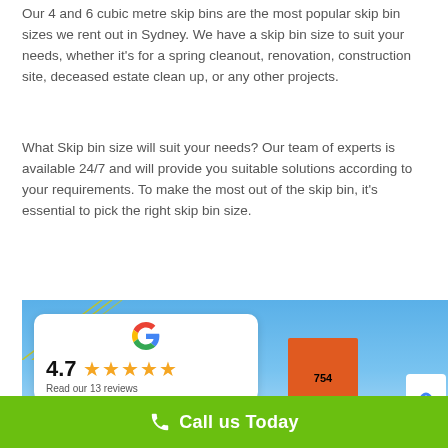Our 4 and 6 cubic metre skip bins are the most popular skip bin sizes we rent out in Sydney. We have a skip bin size to suit your needs, whether it's for a spring cleanout, renovation, construction site, deceased estate clean up, or any other projects.
What Skip bin size will suit your needs? Our team of experts is available 24/7 and will provide you suitable solutions according to your requirements. To make the most out of the skip bin, it's essential to pick the right skip bin size.
[Figure (photo): Photo of a skip bin (orange, marked 754) against a blue sky, with a Google review card showing 4.7 stars and 13 reviews overlaid on the left side.]
Call us Today